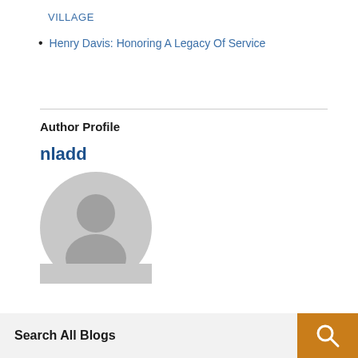VILLAGE
Henry Davis: Honoring A Legacy Of Service
Author Profile
nladd
[Figure (illustration): Generic user avatar: gray circular icon with silhouette of a person (head and shoulders)]
Search All Blogs